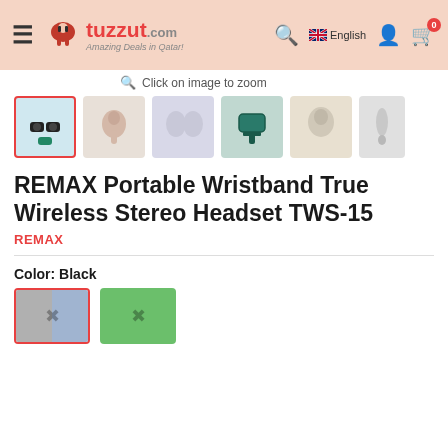[Figure (screenshot): Tuzzut.com e-commerce website header with logo, hamburger menu, search icon, language selector (English with UK flag), user icon, and cart icon with badge showing 0]
Click on image to zoom
[Figure (photo): Product image thumbnails showing REMAX Portable Wristband True Wireless Stereo Headset TWS-15 from various angles. First thumbnail is selected with red border.]
REMAX Portable Wristband True Wireless Stereo Headset TWS-15
REMAX
Color: Black
[Figure (other): Color swatches: first swatch is grey/blue gradient (selected with red border), second swatch is green with X mark]